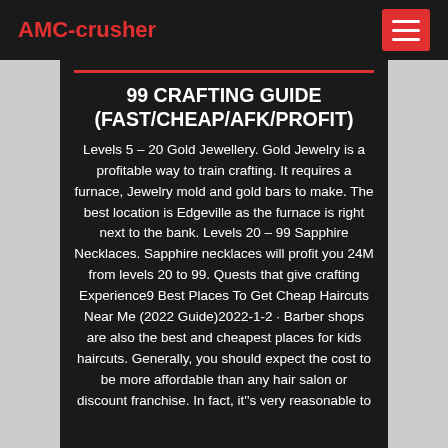AMC-crusher
99 CRAFTING GUIDE (FAST/CHEAP/AFK/PROFIT)
Levels 5 – 20 Gold Jewellery. Gold Jewelry is a profitable way to train crafting. It requires a furnace, Jewelry mold and gold bars to make. The best location is Edgeville as the furnace is right next to the bank. Levels 20 – 99 Sapphire Necklaces. Sapphire necklaces will profit you 24M from levels 20 to 99. Quests that give crafting Experience9 Best Places To Get Cheap Haircuts Near Me (2022 Guide)2022-1-2 · Barber shops are also the best and cheapest places for kids haircuts. Generally, you should expect the cost to be more affordable than any hair salon or discount franchise. In fact, it''s very reasonable to